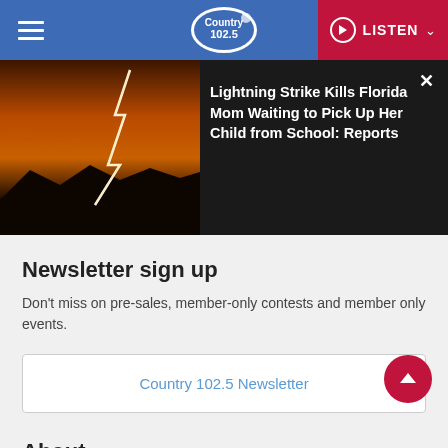Country 102.5 — LISTEN
[Figure (photo): Lightning strike over dark landscape at dusk with orange sky]
Lightning Strike Kills Florida Mom Waiting to Pick Up Her Child from School: Reports
Newsletter sign up
Don't miss on pre-sales, member-only contests and member only events.
Country 102.5 Newsletter
About